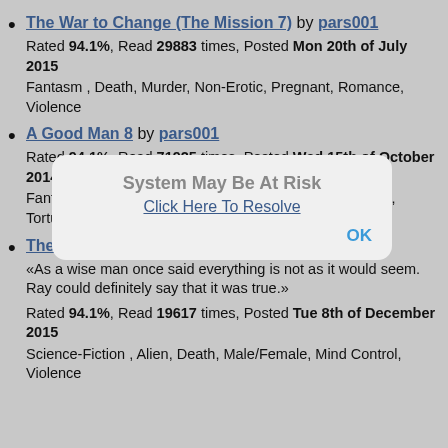The War to Change (The Mission 7) by pars001
Rated 94.1%, Read 29883 times, Posted Mon 20th of July 2015
Fantasm , Death, Murder, Non-Erotic, Pregnant, Romance, Violence
A Good Man 8 by pars001
Rated 94.1%, Read 71925 times, Posted Wed 15th of October 2014
Fantasy , Cruelty, Death, Mind Control, Murder, Pregnant, Torture, Violence
The BLEMS 6 by pars001
«As a wise man once said everything is not as it would seem. Ray could definitely say that it was true.»
Rated 94.1%, Read 19617 times, Posted Tue 8th of December 2015
Science-Fiction , Alien, Death, Male/Female, Mind Control, Violence